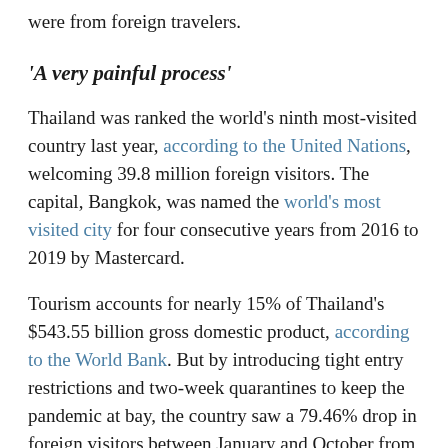were from foreign travelers.
'A very painful process'
Thailand was ranked the world's ninth most-visited country last year, according to the United Nations, welcoming 39.8 million foreign visitors. The capital, Bangkok, was named the world's most visited city for four consecutive years from 2016 to 2019 by Mastercard.
Tourism accounts for nearly 15% of Thailand's $543.55 billion gross domestic product, according to the World Bank. But by introducing tight entry restrictions and two-week quarantines to keep the pandemic at bay, the country saw a 79.46% drop in foreign visitors between January and October from 32.6 million to 6.7 million, while tourism spending plunged 71% from $40.3 billion